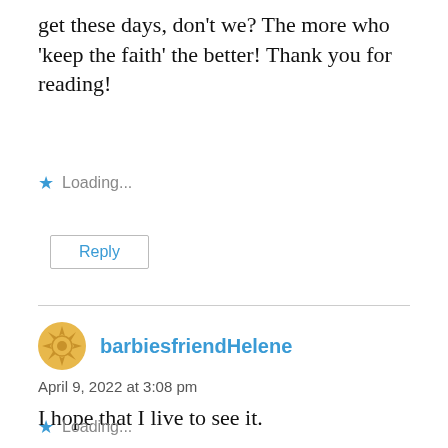get these days, don't we? The more who 'keep the faith' the better! Thank you for reading!
Loading...
Reply
barbiesfriendHelene
April 9, 2022 at 3:08 pm
I hope that I live to see it.
Loading...